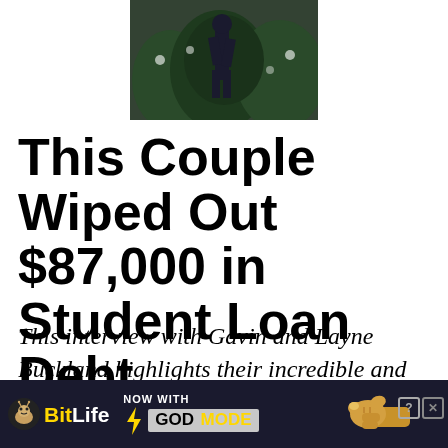[Figure (photo): A person walking among trees or bushes in an outdoor setting, partially visible at top of page]
This Couple Wiped Out $87,000 in Student Loan Debt
This interview with Gavin and Layne Buckland highlights their incredible and improbable story of paying off $87,000 in student loan debt. Like a lot ...
[Figure (illustration): BitLife advertisement banner — 'NOW WITH GOD MODE' promotional ad with yellow text, lightning bolt, hand pointing graphic, close (X) and help (?) buttons]